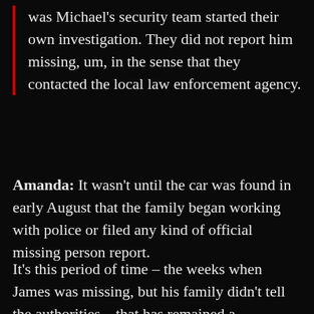was Michael's security team started their own investigation. They did not report him missing, um, in the sense that they contacted the local law enforcement agency.
Amanda: It wasn't until the car was found in early August that the family began working with police or filed any kind of official missing person report.
It's this period of time – the weeks when James was missing, but his family didn't tell the authorities – that has remained a